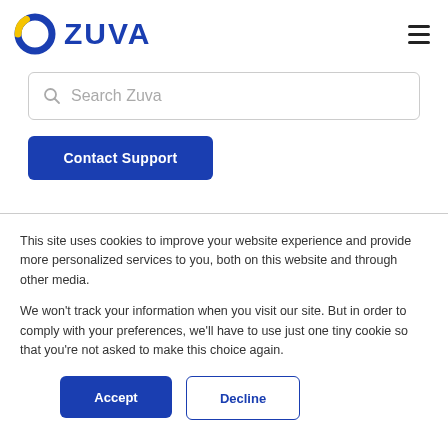[Figure (logo): Zuva logo with circular ring icon in blue and yellow, and ZUVA text in bold blue]
[Figure (other): Hamburger menu icon with three horizontal lines]
Search Zuva
Contact Support
This site uses cookies to improve your website experience and provide more personalized services to you, both on this website and through other media.
We won't track your information when you visit our site. But in order to comply with your preferences, we'll have to use just one tiny cookie so that you're not asked to make this choice again.
Accept
Decline